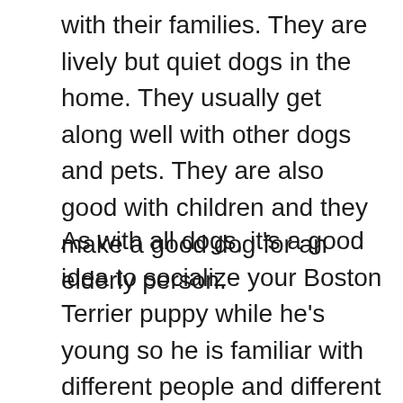with their families. They are lively but quiet dogs in the home. They usually get along well with other dogs and pets. They are also good with children and they make a good dog for an elderly person.
As with all dogs, it's a good idea to socialize your Boston Terrier puppy while he's young so he is familiar with different people and different things outdoors. You want to encourage him to be confident. This is true whether you live in the city or suburbs and whether your dog spends much time outdoors or spends most of